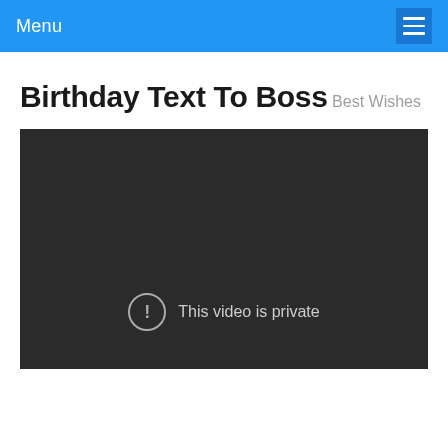Menu
Birthday Text To Boss
Best Wishes
[Figure (screenshot): Dark video player showing 'This video is private' message with an exclamation mark icon in a circle]